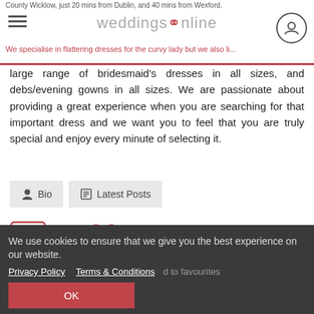County Wicklow, just 20 mins from Dublin, and 40 mins from Wexford.
weddingsonline
We specialise in flattering dresses for the curvy lady but we also have a large range of bridesmaid's dresses in all sizes, and debs/evening gowns in all sizes. We are passionate about providing a great experience when you are searching for that important dress and we want you to feel that you are truly special and enjoy every minute of selecting it.
Bio  Latest Posts
[Figure (infographic): Facebook icon (square with F) and heart/favourite icon]
Find your perfect wedding supplier
We use cookies to ensure that we give you the best experience on our website.
Privacy Policy   Terms & Conditions
OK